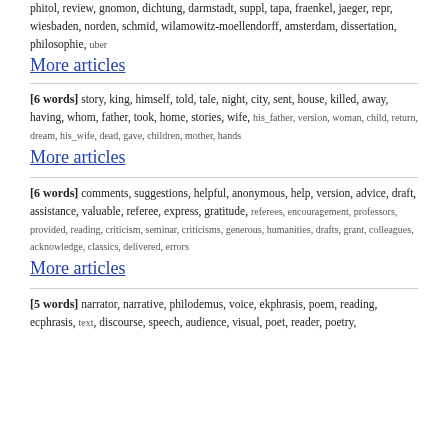phitol, review, gnomon, dichtung, darmstadt, suppl, tapa, fraenkel, jaeger, repr, wiesbaden, norden, schmid, wilamowitz-moellendorff, amsterdam, dissertation, philosophie, uber
More articles
[6 words] story, king, himself, told, tale, night, city, sent, house, killed, away, having, whom, father, took, home, stories, wife, his_father, version, woman, child, return, dream, his_wife, dead, gave, children, mother, hands
More articles
[6 words] comments, suggestions, helpful, anonymous, help, version, advice, draft, assistance, valuable, referee, express, gratitude, referees, encouragement, professors, provided, reading, criticism, seminar, criticisms, generous, humanities, drafts, grant, colleagues, acknowledge, classics, delivered, errors
More articles
[5 words] narrator, narrative, philodemus, voice, ekphrasis, poem, reading, ecphrasis, text, discourse, speech, audience, visual, poet, reader, poetry,